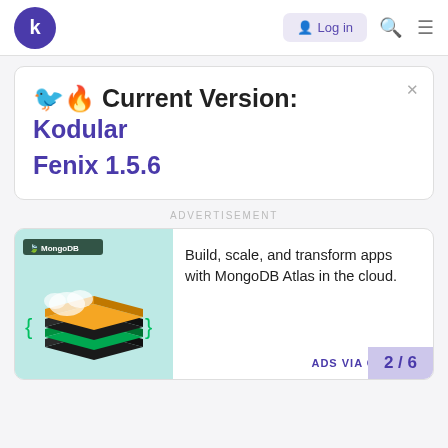Kodular - navigation bar with logo, Log In button, search and menu icons
🐦🔥 Current Version: Kodular Fenix 1.5.6
ADVERTISEMENT
[Figure (illustration): MongoDB advertisement image showing stacked 3D blocks/layers in dark green, black, and yellow/orange colors with MongoDB logo and teal/light blue background]
Build, scale, and transform apps with MongoDB Atlas in the cloud.
ADS VIA CARBON
2 / 6